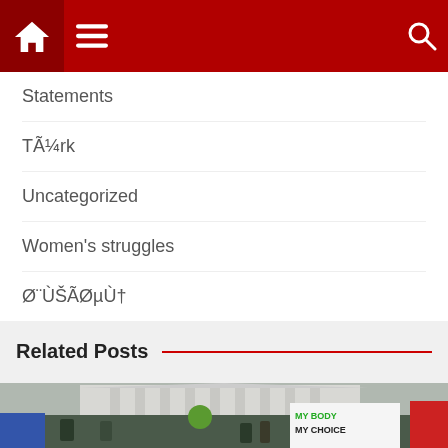Navigation bar with home icon, menu icon, and search icon
Statements
TÃ¼rk
Uncategorized
Women's struggles
Ø¨ÙŠÃØµÙ†
Related Posts
[Figure (photo): Protest outside a government building (resembling the US Supreme Court). Protesters hold signs including one reading 'MY BODY MY CHOICE' in green and black text, and another with a green circular design. Crowd is large with banners and placards visible.]